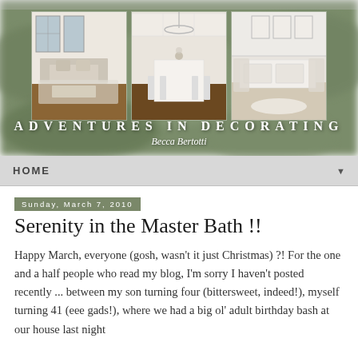[Figure (photo): Blog header banner with three white-decorated room photos (living room, kitchen, dining/sitting area) over a blurred green outdoor background. Text overlay reads ADVENTURES IN DECORATING with script subtitle Becca Bertotti.]
HOME
Sunday, March 7, 2010
Serenity in the Master Bath !!
Happy March, everyone (gosh, wasn't it just Christmas) ?! For the one and a half people who read my blog, I'm sorry I haven't posted recently ... between my son turning four (bittersweet, indeed!), myself turning 41 (eee gads!), where we had a big ol' adult birthday bash at our house last night